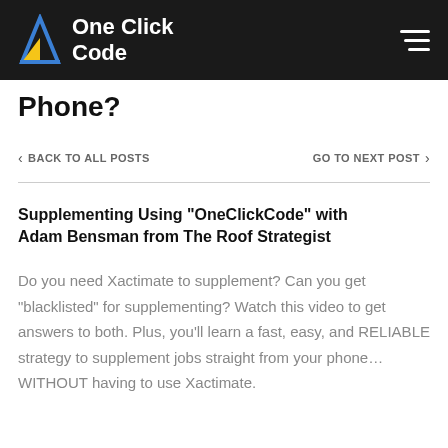One Click Code
Phone?
< BACK TO ALL POSTS     GO TO NEXT POST >
Supplementing Using "OneClickCode" with Adam Bensman from The Roof Strategist
Do you need Xactimate to supplement? Can you get "blacklisted" for supplementing? Watch this video to get answers to both. Plus, you'll learn a fast, easy, and RELIABLE strategy to supplement jobs straight from your phone... WITHOUT having to use Xactimate.